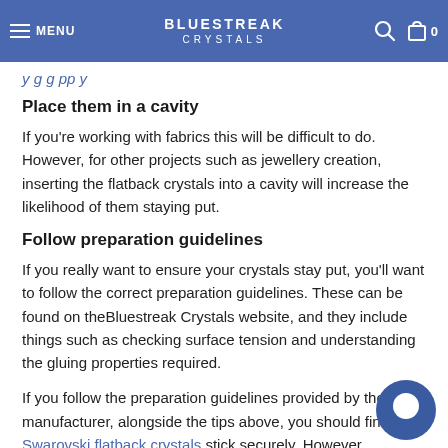BLUESTREAK CRYSTALS
y   g   g   pp   y
Place them in a cavity
If you’re working with fabrics this will be difficult to do. However, for other projects such as jewellery creation, inserting the flatback crystals into a cavity will increase the likelihood of them staying put.
Follow preparation guidelines
If you really want to ensure your crystals stay put, you’ll want to follow the correct preparation guidelines. These can be found on theBluestreak Crystals website, and they include things such as checking surface tension and understanding the gluing properties required.
If you follow the preparation guidelines provided by the manufacturer, alongside the tips above, you should find your Swarovski flatback crystals stick securely. However